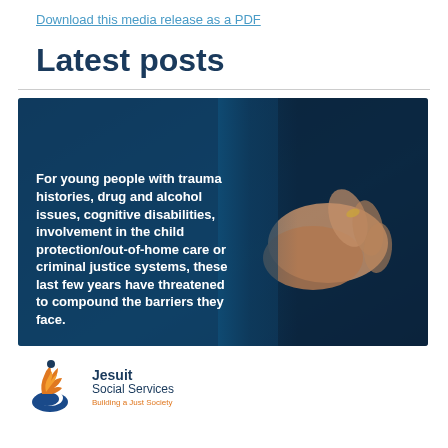Download this media release as a PDF
Latest posts
[Figure (photo): A dark blue toned image of hands clasped/wringing together against a dark background, with bold white text overlay reading: For young people with trauma histories, drug and alcohol issues, cognitive disabilities, involvement in the child protection/out-of-home care or criminal justice systems, these last few years have threatened to compound the barriers they face.]
[Figure (logo): Jesuit Social Services logo with flame/bird icon in orange and blue, with text: Jesuit Social Services, Building a Just Society]